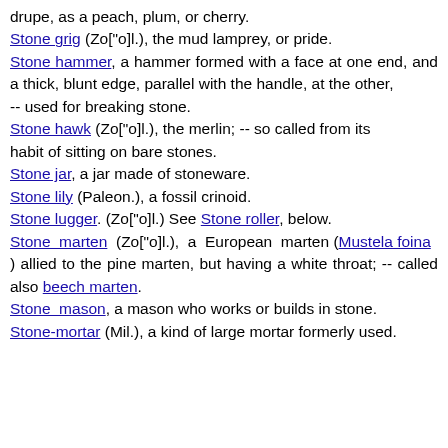drupe, as a peach, plum, or cherry.
Stone grig (Zo["o]l.), the mud lamprey, or pride.
Stone hammer, a hammer formed with a face at one end, and a thick, blunt edge, parallel with the handle, at the other, -- used for breaking stone.
Stone hawk (Zo["o]l.), the merlin; -- so called from its habit of sitting on bare stones.
Stone jar, a jar made of stoneware.
Stone lily (Paleon.), a fossil crinoid.
Stone lugger. (Zo["o]l.) See Stone roller, below.
Stone marten (Zo["o]l.), a European marten (Mustela foina) allied to the pine marten, but having a white throat; -- called also beech marten.
Stone mason, a mason who works or builds in stone.
Stone-mortar (Mil.), a kind of large mortar formerly used.